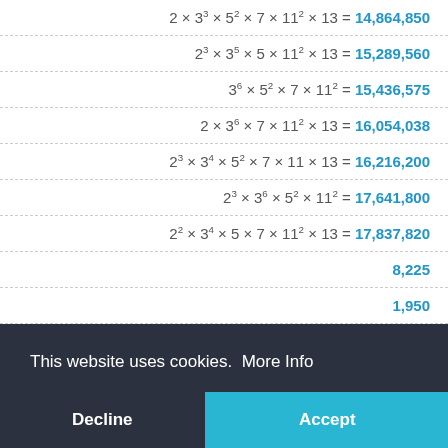This website uses cookies. More Info